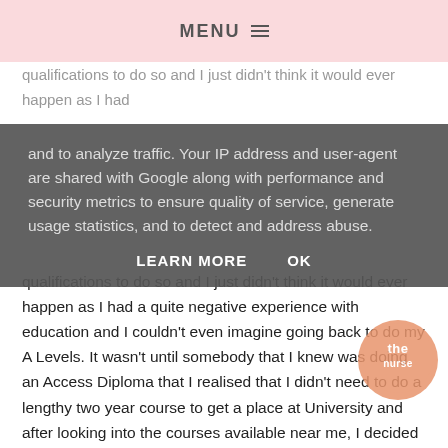MENU ≡
and to analyze traffic. Your IP address and user-agent are shared with Google along with performance and security metrics to ensure quality of service, generate usage statistics, and to detect and address abuse.
LEARN MORE    OK
qualifications to do so and I just didn't think it would ever happen as I had a quite negative experience with education and I couldn't even imagine going back to do my A Levels. It wasn't until somebody that I knew was doing an Access Diploma that I realised that I didn't need to do a lengthy two year course to get a place at University and after looking into the courses available near me, I decided on one; Access to Healthcare Practitioners which I applied for, got a place and have now managed to complete.
An Access course is completely different to any form of education that I have experienced before, it is intense, it is time consuming and stressful however, it is only for nine months and everyone on the course is above the age of 19. My specific course was mostly focussed on Science as most healthcare practitioners rely heavily on science to be
[Figure (logo): Circular orange/salmon watermark logo with stylized text]